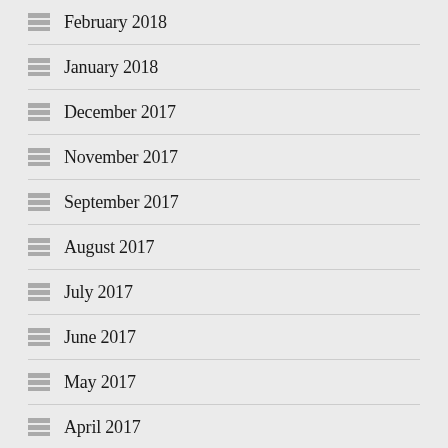February 2018
January 2018
December 2017
November 2017
September 2017
August 2017
July 2017
June 2017
May 2017
April 2017